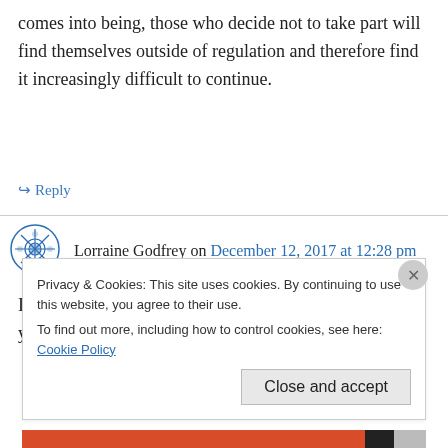comes into being, those who decide not to take part will find themselves outside of regulation and therefore find it increasingly difficult to continue.
↳ Reply
Lorraine Godfrey on December 12, 2017 at 12:28 pm
I agree with you Paddy. Why if people have studied years, completed courses by a founder
Privacy & Cookies: This site uses cookies. By continuing to use this website, you agree to their use.
To find out more, including how to control cookies, see here: Cookie Policy
Close and accept